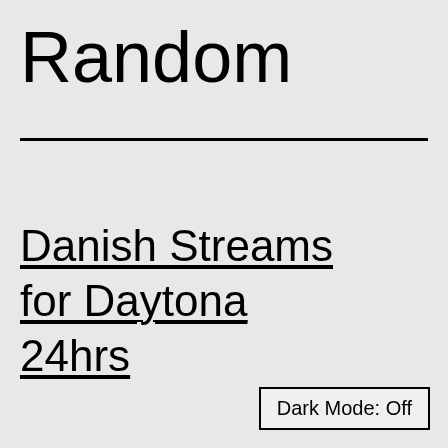Random
Danish Streams for Daytona 24hrs
Dark Mode: Off